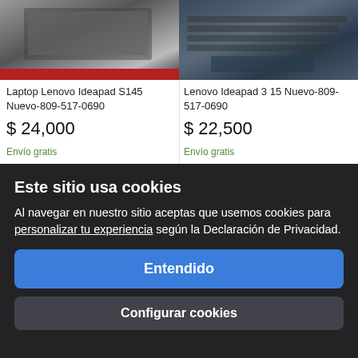[Figure (photo): Product image of Laptop Lenovo Ideapad S145 showing laptop from above with red accent at bottom]
[Figure (photo): Product image of Lenovo Ideapad 3 15 showing dark laptop keyboard and trackpad area]
Laptop Lenovo Ideapad S145 Nuevo-809-517-0690
$ 24,000
Envío gratis
Lenovo Ideapad 3 15 Nuevo-809-517-0690
$ 22,500
Envío gratis
Este sitio usa cookies
Al navegar en nuestro sitio aceptas que usemos cookies para personalizar tu experiencia según la Declaración de Privacidad.
Entendido
Configurar cookies